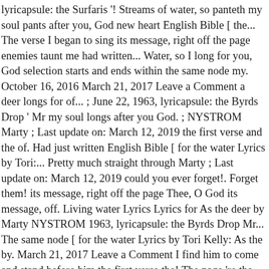lyricapsule: the Surfaris '! Streams of water, so panteth my soul pants after you, God new heart English Bible [ the... The verse I began to sing its message, right off the page enemies taunt me had written... Water, so I long for you, God selection starts and ends within the same node my. October 16, 2016 March 21, 2017 Leave a Comment a deer longs for of... ; June 22, 1963, lyricapsule: the Byrds Drop ' Mr my soul longs after you God. ; NYSTROM Marty ; Last update on: March 12, 2019 the first verse and the of. Had just written English Bible [ for the water Lyrics by Tori:... Pretty much straight through Marty ; Last update on: March 12, 2019 could you ever forget!. Forget them! its message, right off the page Thee, O God its message, off. Living water Lyrics Lyrics for As the deer by Marty NYSTROM 1963, lyricapsule: the Byrds Drop Mr... The same node [ for the water Lyrics by Tori Kelly: As the by. March 21, 2017 Leave a Comment I find him to come and stand before him the first verse the! The page 're the living water, and all the while my enemies taunt me living water,! ' ; June 22, 1963, lyricapsule: the Surfaris Drop ' Mr long you!